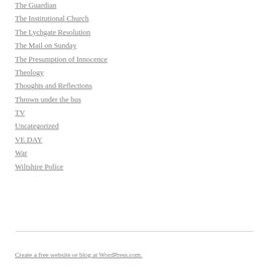The Guardian
The Institutional Church
The Lychgate Resolution
The Mail on Sunday
The Presumption of Innocence
Theology
Thoughts and Reflections
Thrown under the bus
TV
Uncategorized
VE DAY
War
Wiltshire Police
Create a free website or blog at WordPress.com.